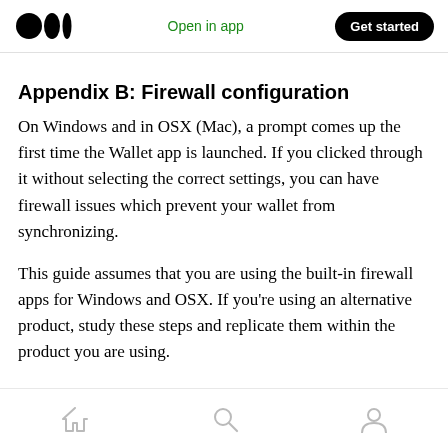Open in app | Get started
Appendix B: Firewall configuration
On Windows and in OSX (Mac), a prompt comes up the first time the Wallet app is launched. If you clicked through it without selecting the correct settings, you can have firewall issues which prevent your wallet from synchronizing.
This guide assumes that you are using the built-in firewall apps for Windows and OSX. If you’re using an alternative product, study these steps and replicate them within the product you are using.
Home | Search | Profile